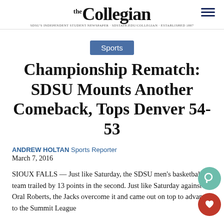the Collegian — SDSU's independent student newspaper
Sports
Championship Rematch: SDSU Mounts Another Comeback, Tops Denver 54-53
ANDREW HOLTAN Sports Reporter
March 7, 2016
SIOUX FALLS — Just like Saturday, the SDSU men's basketball team trailed by 13 points in the second. Just like Saturday against Oral Roberts, the Jacks overcome it and came out on top to advance to the Summit League